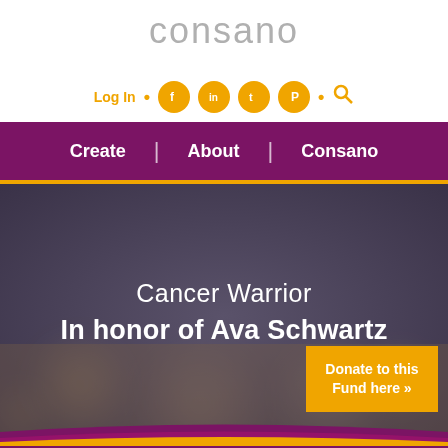consano
Log In · [Facebook] [LinkedIn] [Twitter] [Pinterest] · [Search]
Create | About | Consano
Cancer Warrior
In honor of Ava Schwartz
Donate to this Fund here »